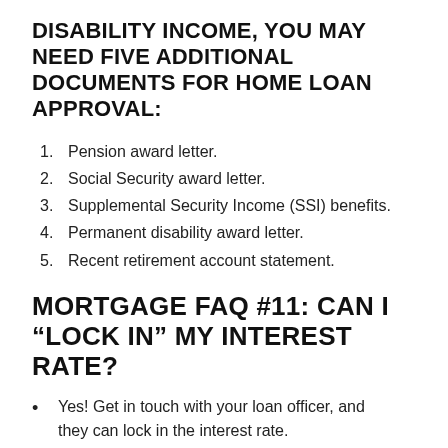DISABILITY INCOME, YOU MAY NEED FIVE ADDITIONAL DOCUMENTS FOR HOME LOAN APPROVAL:
Pension award letter.
Social Security award letter.
Supplemental Security Income (SSI) benefits.
Permanent disability award letter.
Recent retirement account statement.
MORTGAGE FAQ #11: CAN I “LOCK IN” MY INTEREST RATE?
Yes! Get in touch with your loan officer, and they can lock in the interest rate.